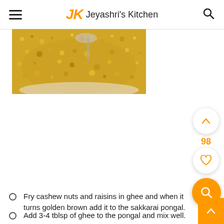Jeyashri's Kitchen
[Figure (photo): Close-up photo of sakkarai pongal (sweet rice dish) in a white bowl with a spoon, golden-brown colored grainy texture]
Fry cashew nuts and raisins in ghee and when it turns golden brown add it to the sakkarai pongal.
Add 3-4 tblsp of ghee to the pongal and mix well.